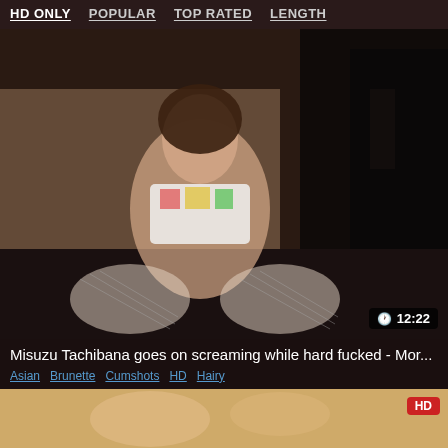HD ONLY  POPULAR  TOP RATED  LENGTH
[Figure (photo): Video thumbnail showing a person on a bed, duration badge showing 12:22]
Misuzu Tachibana goes on screaming while hard fucked - Mor...
Asian  Brunette  Cumshots  HD  Hairy
[Figure (photo): Second video thumbnail, partially visible, with HD badge]